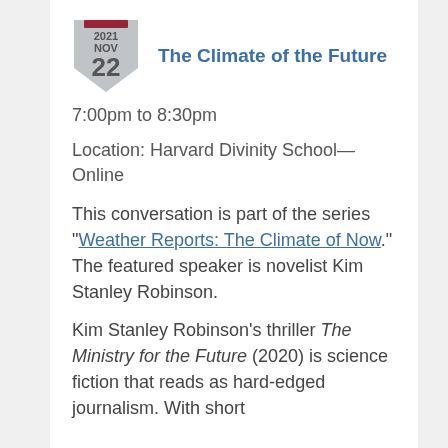[Figure (illustration): Calendar shield icon showing 2021 NOV 22]
The Climate of the Future
7:00pm to 8:30pm
Location: Harvard Divinity School—Online
This conversation is part of the series "Weather Reports: The Climate of Now." The featured speaker is novelist Kim Stanley Robinson.
Kim Stanley Robinson's thriller The Ministry for the Future (2020) is science fiction that reads as hard-edged journalism. With short